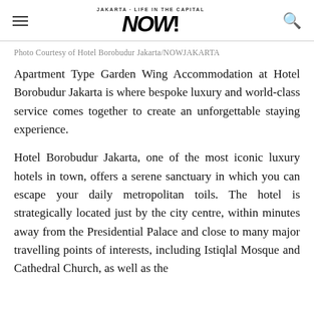NOW! Jakarta - Life in the Capital
Photo Courtesy of Hotel Borobudur Jakarta/NOWJAKARTA
Apartment Type Garden Wing Accommodation at Hotel Borobudur Jakarta is where bespoke luxury and world-class service comes together to create an unforgettable staying experience.
Hotel Borobudur Jakarta, one of the most iconic luxury hotels in town, offers a serene sanctuary in which you can escape your daily metropolitan toils. The hotel is strategically located just by the city centre, within minutes away from the Presidential Palace and close to many major travelling points of interests, including Istiqlal Mosque and Cathedral Church, as well as the